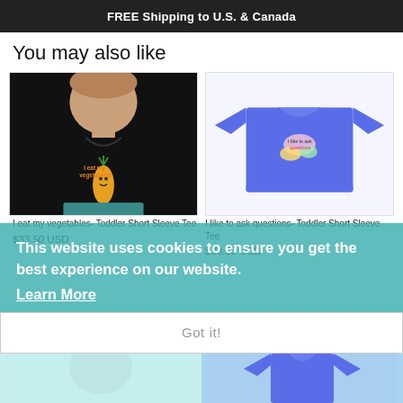FREE Shipping to U.S. & Canada
You may also like
[Figure (photo): Toddler wearing black t-shirt with 'I eat my vegetables' text and carrot graphic]
[Figure (photo): Blue toddler t-shirt with colorful graphic design]
I eat my vegetables- Toddler Short Sleeve Tee
$33.50 USD
I like to ask questions- Toddler Short Sleeve Tee
$33.50 USD
This website uses cookies to ensure you get the best experience on our website.
Learn More
Got it!